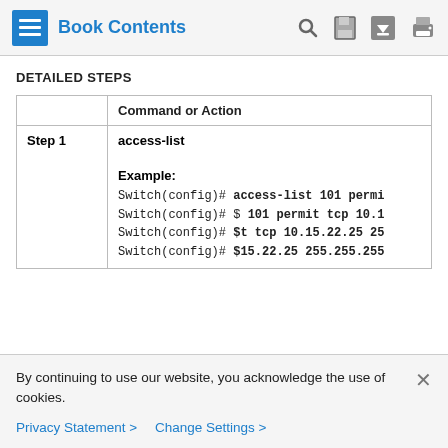Book Contents
DETAILED STEPS
|  | Command or Action |
| --- | --- |
| Step 1 | access-list

Example:
Switch(config)# access-list 101 permi
Switch(config)# $ 101 permit tcp 10.1
Switch(config)# $t tcp 10.15.22.25 25
Switch(config)# $15.22.25 255.255.255 |
By continuing to use our website, you acknowledge the use of cookies.
Privacy Statement > Change Settings >